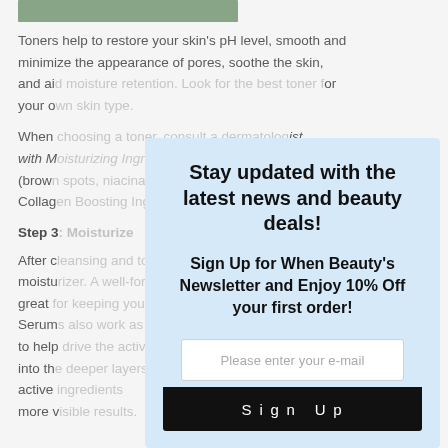[Figure (photo): Partial view of a plant/nature photo at top of page, cropped]
Toners help to restore your skin's pH level, smooth and minimize the appearance of pores, soothe the skin, and ai[d…] or your o[wn…]
When [choosing a toner, consult a dermatolog]ist with M[…] (brown[…] Collag[en…]
Step 3[…]
After c[leansing and toning, apply a] moistu[rizer…] great […] Serum[…] rs to help[…] nts into th[…] active[…] more v[…]
Stay updated with the latest news and beauty deals!
Sign Up for When Beauty's Newsletter and Enjoy 10% Off your first order!
Please enter your e-mail
Sign Up